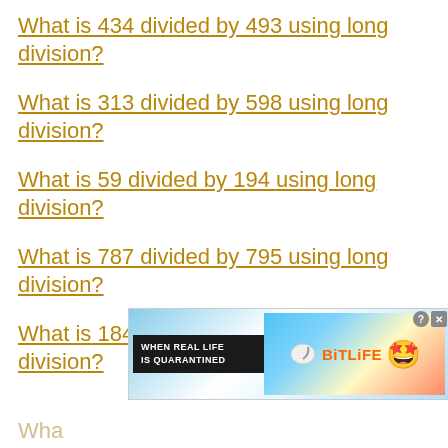What is 434 divided by 493 using long division?
What is 313 divided by 598 using long division?
What is 59 divided by 194 using long division?
What is 787 divided by 795 using long division?
What is 184 divided by 826 using long division?
[Figure (other): Advertisement banner for BitLife game: 'WHEN REAL LIFE IS QUARANTINED' with BitLife logo and emoji characters]
Wha... (partially visible)